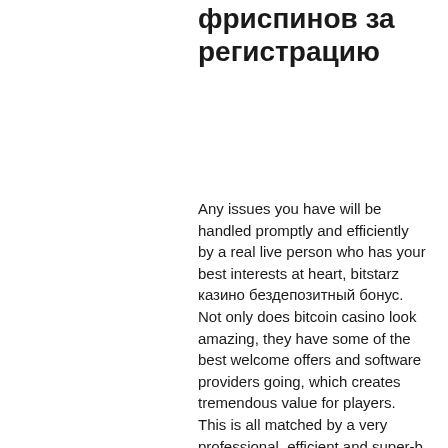фриспинов за регистрацию
Any issues you have will be handled promptly and efficiently by a real live person who has your best interests at heart, bitstarz казино бездепозитный бонус. Not only does bitcoin casino look amazing, they have some of the best welcome offers and software providers going, which creates tremendous value for players. This is all matched by a very professional, efficient and super-b affiliate manager who helped get the ball rolling immediately. We would highly recommend their casinos to all of our players. And if you're looking for a good affiliate program, just sign up with their brands. Here's some of the factors that we value when reviewing casinos: Security, licensing and provably fair, bitstarz казино бездепозитный бонус. Drawback 2: Crypto